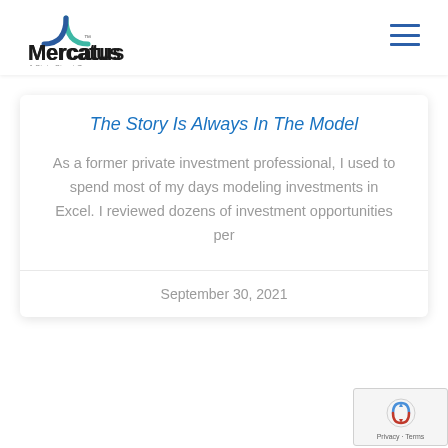[Figure (logo): Mercatus logo with teal/green arch icon and dark text 'Mercatus' with tagline 'A State Street Company']
The Story Is Always In The Model
As a former private investment professional, I used to spend most of my days modeling investments in Excel. I reviewed dozens of investment opportunities per
September 30, 2021